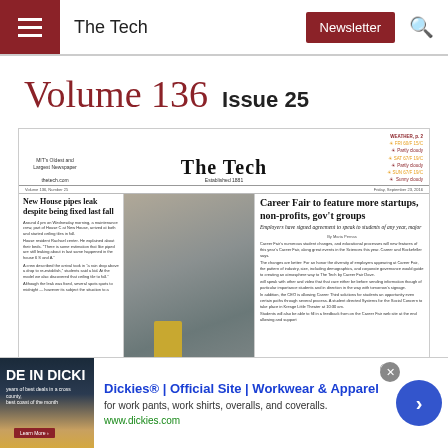The Tech | Newsletter
Volume 136  Issue 25
[Figure (screenshot): Thumbnail of The Tech newspaper front page showing masthead, 'New House pipes leak despite being fixed last fall' story, a photo of an indoor bicycle parking area, and 'Career Fair to feature more startups, non-profits, gov't groups' headline with subheading 'Employers have signed agreement to speak to students of any year, major']
[Figure (screenshot): Advertisement banner: Dickies® | Official Site | Workwear & Apparel — for work pants, work shirts, overalls, and coveralls. www.dickies.com]